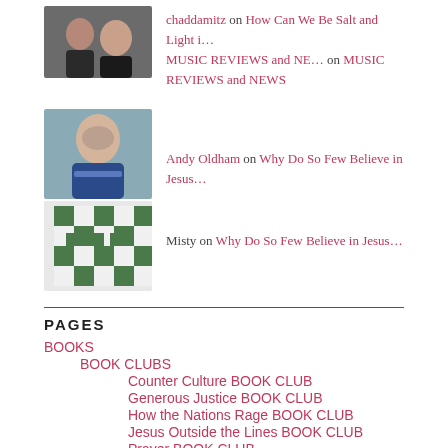chaddamitz on How Can We Be Salt and Light i… MUSIC REVIEWS and NE… on MUSIC REVIEWS and NEWS
Andy Oldham on Why Do So Few Believe in Jesus…
Misty on Why Do So Few Believe in Jesus…
PAGES
BOOKS
BOOK CLUBS
Counter Culture BOOK CLUB
Generous Justice BOOK CLUB
How the Nations Rage BOOK CLUB
Jesus Outside the Lines BOOK CLUB
Prayer BOOK CLUB